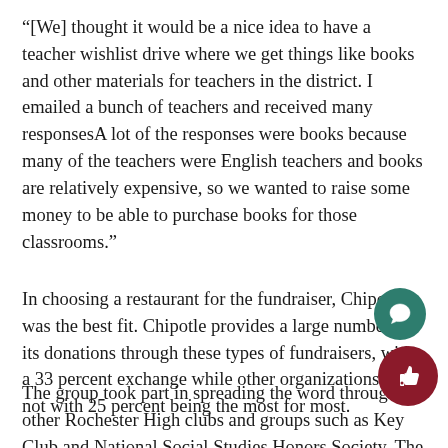“[We] thought it would be a nice idea to have a teacher wishlist drive where we get things like books and other materials for teachers in the district. I emailed a bunch of teachers and received many responsesA lot of the responses were books because many of the teachers were English teachers and books are relatively expensive, so we wanted to raise some money to be able to purchase books for those classrooms.”
In choosing a restaurant for the fundraiser, Chipotle was the best fit. Chipotle provides a large number of its donations through these types of fundraisers, with a 33 percent exchange while other organizations do not with 25 percent being the most for most.
The group took part in spreading the word through other Rochester High clubs and groups such as Key Club and National Social Studies Honors Society. The outcome o